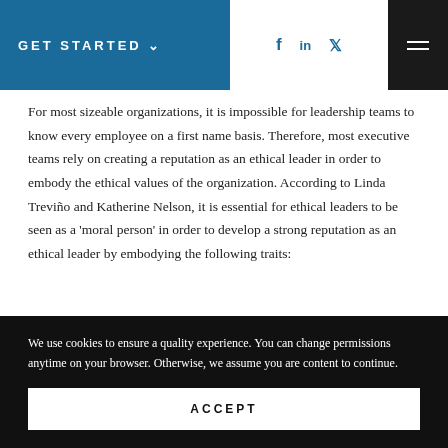GET STARTED
For most sizeable organizations, it is impossible for leadership teams to know every employee on a first name basis. Therefore, most executive teams rely on creating a reputation as an ethical leader in order to embody the ethical values of the organization. According to Linda Treviño and Katherine Nelson, it is essential for ethical leaders to be seen as a 'moral person' in order to develop a strong reputation as an ethical leader by embodying the following traits:
We use cookies to ensure a quality experience. You can change permissions anytime on your browser. Otherwise, we assume you are content to continue.
ACCEPT